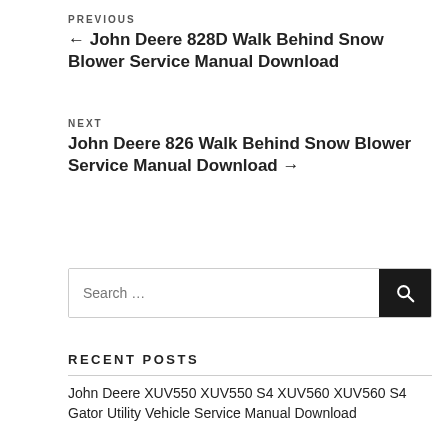PREVIOUS
← John Deere 828D Walk Behind Snow Blower Service Manual Download
NEXT
John Deere 826 Walk Behind Snow Blower Service Manual Download →
Search …
RECENT POSTS
John Deere XUV550 XUV550 S4 XUV560 XUV560 S4 Gator Utility Vehicle Service Manual Download